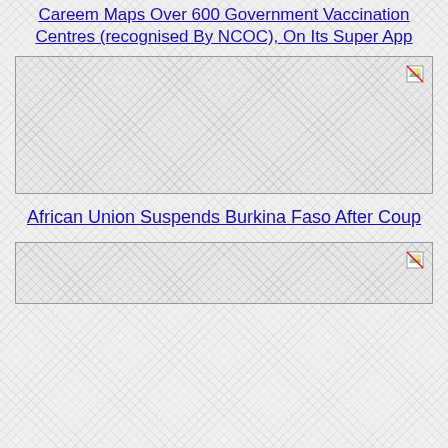Careem Maps Over 600 Government Vaccination Centres (recognised By NCOC), On Its Super App
[Figure (photo): Placeholder image box with broken image icon in top-right corner]
African Union Suspends Burkina Faso After Coup
[Figure (photo): Placeholder image box with broken image icon in top-right corner]